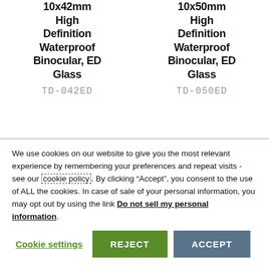10x42mm High Definition Waterproof Binocular, ED Glass
TD-042ED
10x50mm High Definition Waterproof Binocular, ED Glass
TD-050ED
We use cookies on our website to give you the most relevant experience by remembering your preferences and repeat visits - see our cookie policy. By clicking “Accept”, you consent to the use of ALL the cookies. In case of sale of your personal information, you may opt out by using the link Do not sell my personal information.